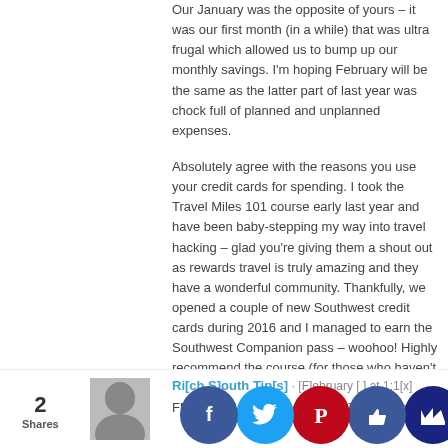Our January was the opposite of yours – it was our first month (in a while) that was ultra frugal which allowed us to bump up our monthly savings. I'm hoping February will be the same as the latter part of last year was chock full of planned and unplanned expenses.
Absolutely agree with the reasons you use your credit cards for spending. I took the Travel Miles 101 course early last year and have been baby-stepping my way into travel hacking – glad you're giving them a shout out as rewards travel is truly amazing and they have a wonderful community. Thankfully, we opened a couple of new Southwest credit cards during 2016 and I managed to earn the Southwest Companion pass – woohoo! Highly recommend the course (for those who haven't taken it) and the SW Companion Pass (if you travel domestically and are near an airport that offers Southwest flight).
Wishing you a frugal February!
Reply
Rich South Tips · February [date] at 1:1[x]
F[acebook] is the [best] point[s] [for] [fi]nancial fr[ugal] [j]ourne[y]